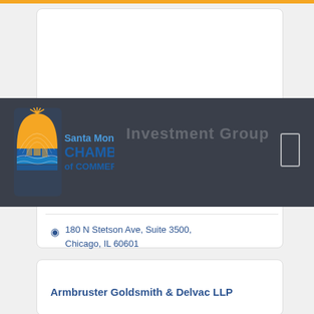[Figure (logo): Santa Monica Chamber of Commerce logo with sun/arch icon]
Investment Group
180 N Stetson Ave, Suite 3500, Chicago, IL 60601
(310) 988-5081
Armbruster Goldsmith & Delvac LLP